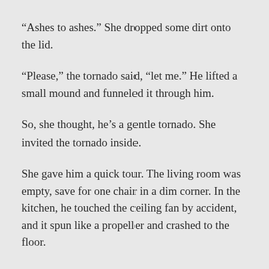“Ashes to ashes.” She dropped some dirt onto the lid.
“Please,” the tornado said, “let me.” He lifted a small mound and funneled it through him.
So, she thought, he’s a gentle tornado. She invited the tornado inside.
She gave him a quick tour. The living room was empty, save for one chair in a dim corner. In the kitchen, he touched the ceiling fan by accident, and it spun like a propeller and crashed to the floor.
There was the bedroom, the bathroom. In front of the last room, she paused.